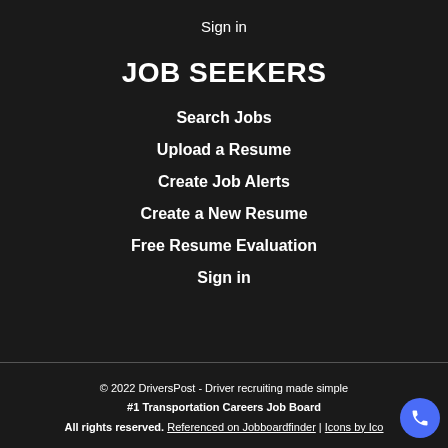Sign in
JOB SEEKERS
Search Jobs
Upload a Resume
Create Job Alerts
Create a New Resume
Free Resume Evaluation
Sign in
© 2022 DriversPost - Driver recruiting made simple
#1 Transportation Careers Job Board
All rights reserved. Referenced on Jobboardfinder | Icons by Ico